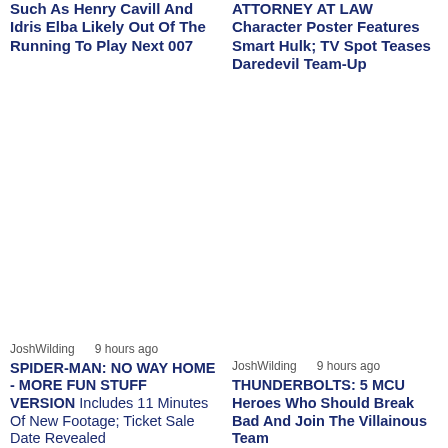Such As Henry Cavill And Idris Elba Likely Out Of The Running To Play Next 007
ATTORNEY AT LAW Character Poster Features Smart Hulk; TV Spot Teases Daredevil Team-Up
JoshWilding    9 hours ago
JoshWilding    9 hours ago
SPIDER-MAN: NO WAY HOME - MORE FUN STUFF VERSION Includes 11 Minutes Of New Footage; Ticket Sale Date Revealed
THUNDERBOLTS: 5 MCU Heroes Who Should Break Bad And Join The Villainous Team